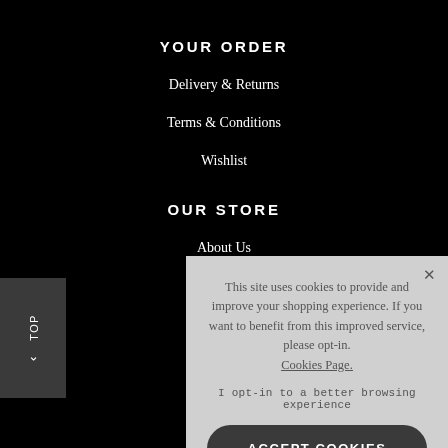YOUR ORDER
Delivery & Returns
Terms & Conditions
Wishlist
OUR STORE
About Us
This site uses cookies to provide and improve your shopping experience. If you want to benefit from this improved service, please opt-in. Cookies Page.
I opt-in to a better browsing experience
ACCEPT COOKIES
Levante